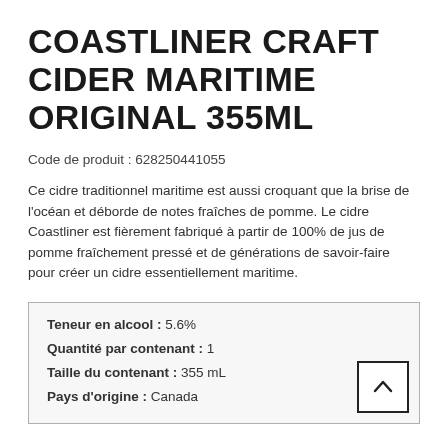COASTLINER CRAFT CIDER MARITIME ORIGINAL 355ML
Code de produit : 628250441055
Ce cidre traditionnel maritime est aussi croquant que la brise de l'océan et déborde de notes fraîches de pomme. Le cidre Coastliner est fièrement fabriqué à partir de 100% de jus de pomme fraîchement pressé et de générations de savoir-faire pour créer un cidre essentiellement maritime.
| Teneur en alcool : | 5.6% |
| Quantité par contenant : | 1 |
| Taille du contenant : | 355 mL |
| Pays d'origine : | Canada |